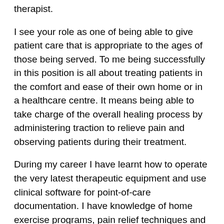therapist.
I see your role as one of being able to give patient care that is appropriate to the ages of those being served. To me being successfully in this position is all about treating patients in the comfort and ease of their own home or in a healthcare centre. It means being able to take charge of the overall healing process by administering traction to relieve pain and observing patients during their treatment.
During my career I have learnt how to operate the very latest therapeutic equipment and use clinical software for point-of-care documentation. I have knowledge of home exercise programs, pain relief techniques and am proficient with electronic documentation as well as Microsoft Office programs.
On a personal level I am committed to continuing